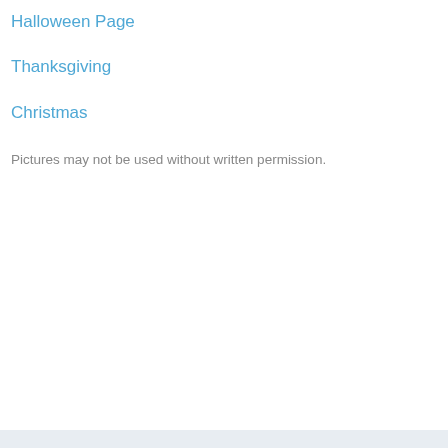Halloween Page
Thanksgiving
Christmas
Pictures may not be used without written permission.